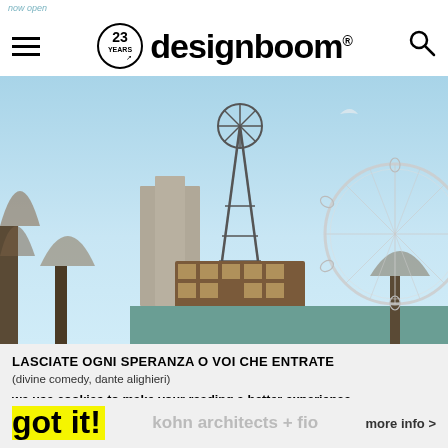now open
[Figure (logo): designboom logo with 23 YEARS badge circle and search icon on white nav bar]
[Figure (photo): Architectural photo showing a windmill-topped structure with a wooden cabin base on a rooftop, with the London Eye ferris wheel visible in the background against a blue sky with crescent moon]
LASCIATE OGNI SPERANZA O VOI CHE ENTRATE
(divine comedy, dante alighieri)
we use cookies to make your reading a better experience.
got it!
kohn architects + fio
more info >